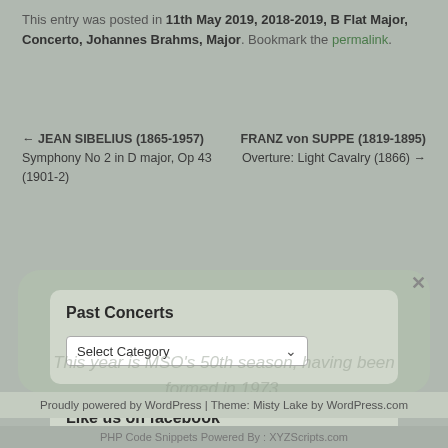This entry was posted in 11th May 2019, 2018-2019, B Flat Major, Concerto, Johannes Brahms, Major. Bookmark the permalink.
← JEAN SIBELIUS (1865-1957)
Symphony No 2 in D major, Op 43 (1901-2)
FRANZ von SUPPE (1819-1895)
Overture: Light Cavalry (1866) →
Past Concerts
Select Category
Like us on facebook
This year is MSO's 50th season, having been formed in 1973.
Proudly powered by WordPress | Theme: Misty Lake by WordPress.com
PHP Code Snippets Powered By : XYZScripts.com